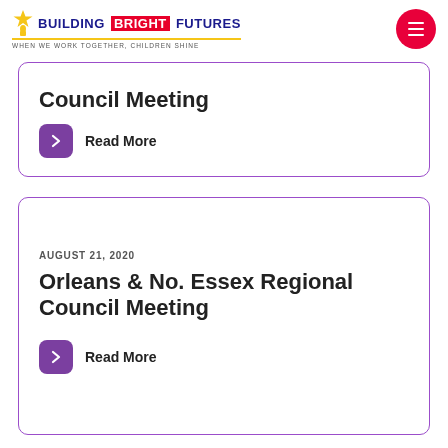BUILDING BRIGHT FUTURES — WHEN WE WORK TOGETHER, CHILDREN SHINE
Council Meeting
Read More
AUGUST 21, 2020
Orleans & No. Essex Regional Council Meeting
Read More